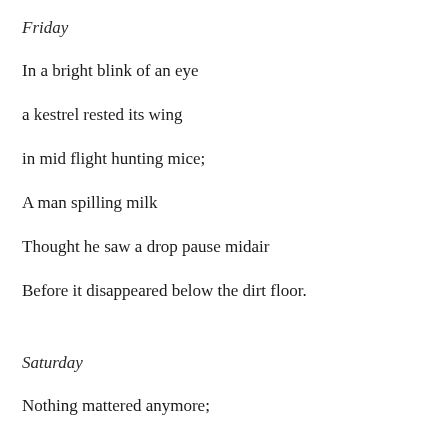Friday
In a bright blink of an eye
a kestrel rested its wing
in mid flight hunting mice;
A man spilling milk
Thought he saw a drop pause midair
Before it disappeared below the dirt floor.
Saturday
Nothing mattered anymore;